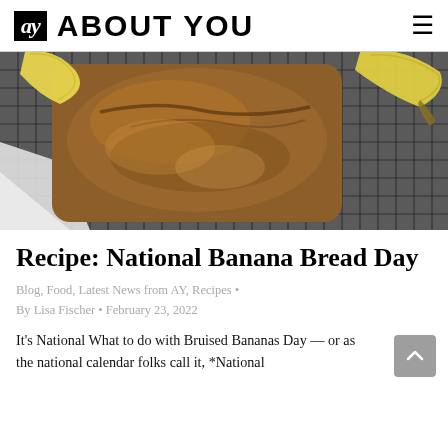ay ABOUT YOU
[Figure (photo): Overhead photo of a loaf of banana bread on a wire cooling rack, with bananas visible in the background corners, on a dark grey surface.]
Recipe: National Banana Bread Day
Blog, Food, Latest News from AY, Recipes • By Lisa Fischer • February 23, 2022
It's National What to do with Bruised Bananas Day — or as the national calendar folks call it, *National